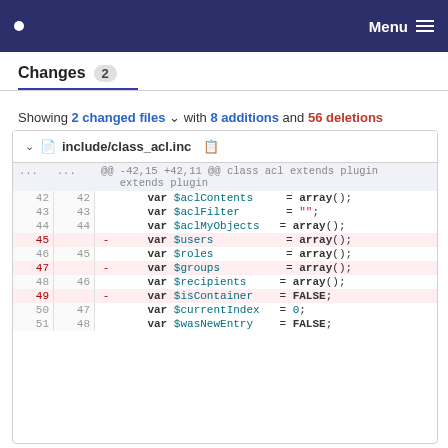Menu
Changes 2
Showing 2 changed files with 8 additions and 56 deletions
| old ln | new ln | op | code |
| --- | --- | --- | --- |
| ... | ... |  | @@ -42,15 +42,11 @@ class acl extends plugin |
| 42 | 42 |  |     var $aclContents    = array(); |
| 43 | 43 |  |     var $aclFilter       = ""; |
| 44 | 44 |  |     var $aclMyObjects  = array(); |
| 45 |  | - |     var $users           = array(); |
| 46 | 45 |  |     var $roles           = array(); |
| 47 |  | - |     var $groups           = array(); |
| 48 | 46 |  |     var $recipients     = array(); |
| 49 |  | - |     var $isContainer      = FALSE; |
| 50 | 47 |  |     var $currentIndex    = 0; |
| 51 | 48 |  |     var $wasNewEntry     = FALSE; |